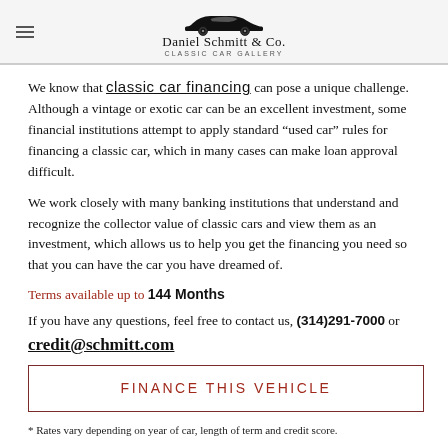Daniel Schmitt & Co. Classic Car Gallery
We know that classic car financing can pose a unique challenge. Although a vintage or exotic car can be an excellent investment, some financial institutions attempt to apply standard “used car” rules for financing a classic car, which in many cases can make loan approval difficult.
We work closely with many banking institutions that understand and recognize the collector value of classic cars and view them as an investment, which allows us to help you get the financing you need so that you can have the car you have dreamed of.
Terms available up to 144 Months
If you have any questions, feel free to contact us, (314)291-7000 or credit@schmitt.com
FINANCE THIS VEHICLE
* Rates vary depending on year of car, length of term and credit score.